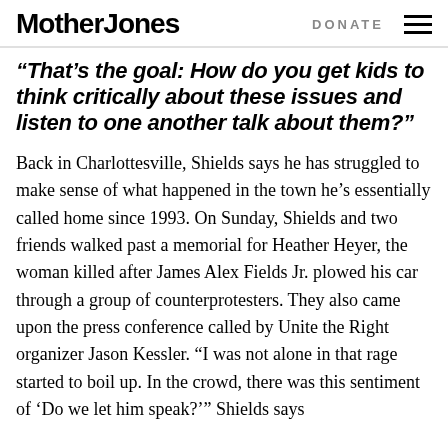Mother Jones
“That’s the goal: How do you get kids to think critically about these issues and listen to one another talk about them?”
Back in Charlottesville, Shields says he has struggled to make sense of what happened in the town he’s essentially called home since 1993. On Sunday, Shields and two friends walked past a memorial for Heather Heyer, the woman killed after James Alex Fields Jr. plowed his car through a group of counterprotesters. They also came upon the press conference called by Unite the Right organizer Jason Kessler. “I was not alone in that rage started to boil up. In the crowd, there was this sentiment of ‘Do we let him speak?’” Shields says